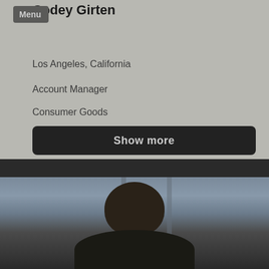Codey Girten
Menu
Los Angeles, California
Account Manager
Consumer Goods
Show more
[Figure (photo): Profile photo of a person with dark curly hair, photographed indoors near a window, wearing dark clothing]